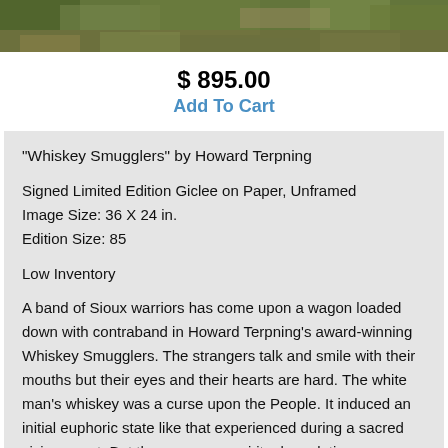[Figure (photo): A landscape painting or photograph banner showing natural outdoor scenery with green foliage and earthy tones]
$ 895.00
Add To Cart
"Whiskey Smugglers" by Howard Terpning
Signed Limited Edition Giclee on Paper, Unframed
Image Size: 36 X 24 in.
Edition Size: 85
Low Inventory
A band of Sioux warriors has come upon a wagon loaded down with contraband in Howard Terpning's award-winning Whiskey Smugglers. The strangers talk and smile with their mouths but their eyes and their hearts are hard. The white man's whiskey was a curse upon the People. It induced an initial euphoric state like that experienced during a sacred vision quest. But there were no spiritual revelations . . . nothing at all but drunkenness and despair. The white man's empty